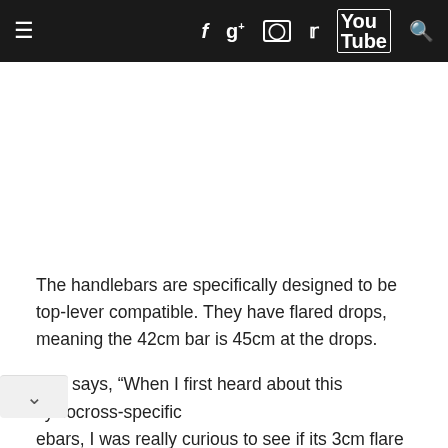≡  f  g+  ⊙  🐦  You Tube  🔍
[Figure (photo): White/blank image area above article text]
The handlebars are specifically designed to be top-lever compatible. They have flared drops, meaning the 42cm bar is 45cm at the drops.
She says, “When I first heard about this cyclocross-specific ebars, I was really curious to see if its 3cm flare in the